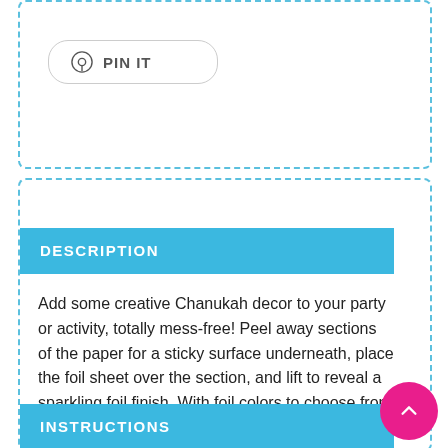[Figure (screenshot): PIN IT button with Pinterest icon, rounded rectangle border]
DESCRIPTION
Add some creative Chanukah decor to your party or activity, totally mess-free! Peel away sections of the paper for a sticky surface underneath, place the foil sheet over the section, and lift to reveal a sparkling foil finish. With foil colors to choose from and beautifully detailed images, the Foil Art Chanukah Napkin Rings are sure to make your Yov Tov table “light” up!
INSTRUCTIONS